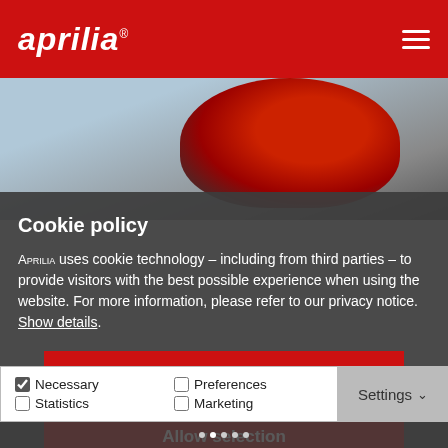aprilia
[Figure (photo): Aprilia motorcycle helmet/bike detail photo in background, dark reddish tones]
Cookie policy
Aprilia uses cookie technology – including from third parties – to provide visitors with the best possible experience when using the website. For more information, please refer to our privacy notice. Show details.
Allow all cookies
Allow selection
Use necessary cookies only
Necessary  Preferences  Statistics  Marketing  Settings